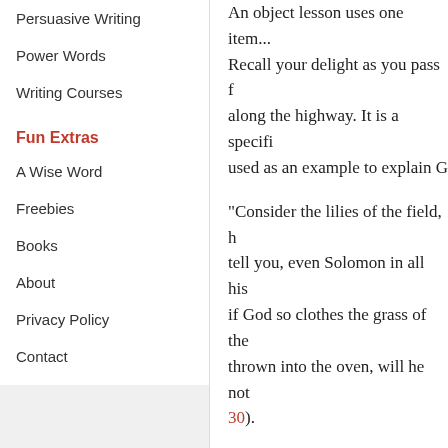Persuasive Writing
Power Words
Writing Courses
Fun Extras
A Wise Word
Freebies
Books
About
Privacy Policy
Contact
An object lesson uses one item... Recall your delight as you pass along the highway. It is a specific used as an example to explain G
"Consider the lilies of the field, h tell you, even Solomon in all his if God so clothes the grass of the thrown into the oven, will he not 30).
6. Interesting Fact
A news story, interesting fact, or spiritual truth in a way that captu information about how a seed g Parable of the Soils) and how to Son) to make a point.
7. Pithy Quote
A quotation that...